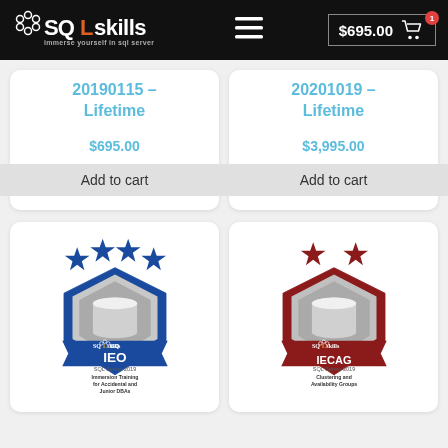SQLskills — immerse yourself in sql server | $695.00 cart
20190115 – Lifetime
$695.00
Add to cart
20201019 – Lifetime
$3,995.00
Add to cart
[Figure (logo): SQLskills IEO badge — blue pentagon shield with 4 stars. SQL Server 2019 Immersion Training for Accidental and Junior DBAs]
[Figure (logo): SQLskills IECAG badge — dark red pentagon shield with 2 stars. SQL Server 2019 Clustering and Availability Groups]